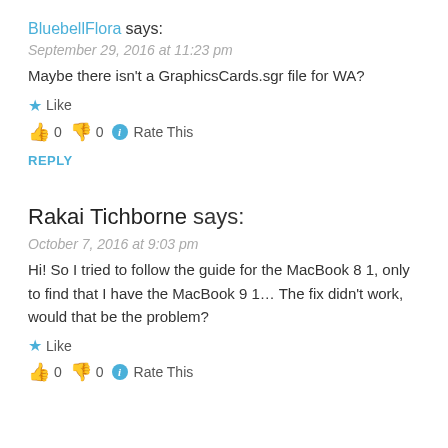BluebellFlora says:
September 29, 2016 at 11:23 pm
Maybe there isn't a GraphicsCards.sgr file for WA?
Like
👍 0 👎 0 ℹ Rate This
REPLY
Rakai Tichborne says:
October 7, 2016 at 9:03 pm
Hi! So I tried to follow the guide for the MacBook 8 1, only to find that I have the MacBook 9 1... The fix didn't work, would that be the problem?
Like
👍 0 👎 0 ℹ Rate This